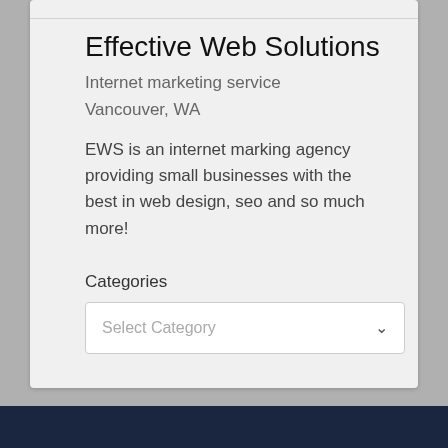Effective Web Solutions
Internet marketing service
Vancouver, WA
EWS is an internet marking agency providing small businesses with the best in web design, seo and so much more!
Categories
Select Category